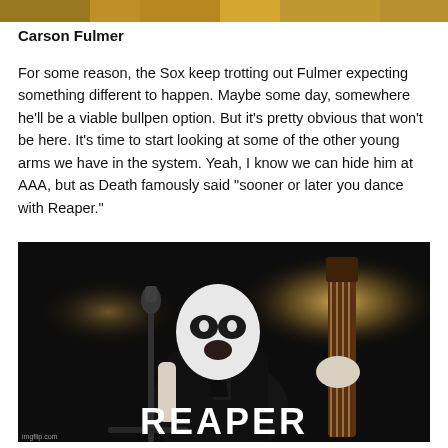[Figure (photo): Top strip image showing partial view of what appears to be a sports-related image with golden/amber tones]
Carson Fulmer
For some reason, the Sox keep trotting out Fulmer expecting something different to happen. Maybe some day, somewhere he'll be a viable bullpen option. But it's pretty obvious that won't be here. It's time to start looking at some of the other young arms we have in the system. Yeah, I know we can hide him at AAA, but as Death famously said "sooner or later you dance with Reaper."
[Figure (photo): Meme image of a person in black outfit with white face paint performing on stage, holding a microphone stand and a bass instrument, with the caption REAPER in large white bold text at the bottom. Dark background with stage lighting. imgflip.com watermark in bottom left.]